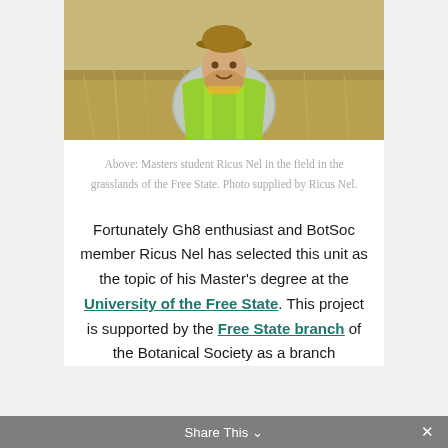[Figure (photo): Photo of Masters student Ricus Nel in the field in the grasslands of the Free State, wearing a yellow-green high-visibility vest over a patterned shirt, smiling at the camera with dry grassland in the background.]
Above: Masters student Ricus Nel in the field in the grasslands of the Free State. Photo supplied by Ricus Nel.
Fortunately Gh8 enthusiast and BotSoc member Ricus Nel has selected this unit as the topic of his Master's degree at the University of the Free State. This project is supported by the Free State branch of the Botanical Society as a branch